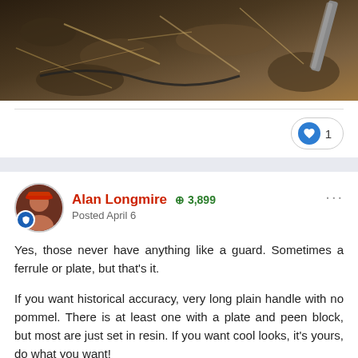[Figure (photo): Close-up photo of dark soil and debris, with what appears to be a metal tool or implement visible in the top right corner.]
Alan Longmire +3,899 Posted April 6
Yes, those never have anything like a guard. Sometimes a ferrule or plate, but that's it.

If you want historical accuracy, very long plain handle with no pommel. There is at least one with a plate and peen block, but most are just set in resin. If you want cool looks, it's yours, do what you want!